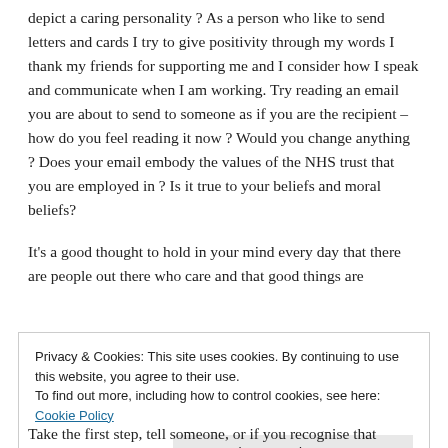depict a caring personality ? As a person who like to send letters and cards I try to give positivity through my words I thank my friends for supporting me and I consider how I speak and communicate when I am working. Try reading an email you are about to send to someone as if you are the recipient – how do you feel reading it now ? Would you change anything ? Does your email embody the values of the NHS trust that you are employed in ? Is it true to your beliefs and moral beliefs?
It's a good thought to hold in your mind every day that there are people out there who care and that good things are
Privacy & Cookies: This site uses cookies. By continuing to use this website, you agree to their use.
To find out more, including how to control cookies, see here: Cookie Policy
Close and accept
Take the first step, tell someone, or if you recognise that